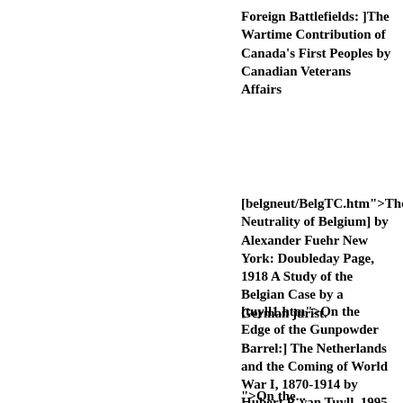Foreign Battlefields: ]The Wartime Contribution of Canada's First Peoples by Canadian Veterans Affairs
[belgneut/BelgTC.htm">The Neutrality of Belgium] by Alexander Fuehr New York: Doubleday Page, 1918 A Study of the Belgian Case by a German jurist.
[tuyll1.htm">On the Edge of the Gunpowder Barrel:] The Netherlands and the Coming of World War I, 1870-1914 by Hubert P. van Tuyll, 1995
">On the...